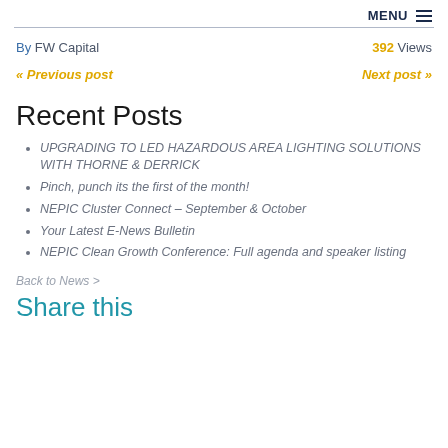MENU ☰
By FW Capital   392 Views
« Previous post   Next post »
Recent Posts
UPGRADING TO LED HAZARDOUS AREA LIGHTING SOLUTIONS WITH THORNE & DERRICK
Pinch, punch its the first of the month!
NEPIC Cluster Connect – September & October
Your Latest E-News Bulletin
NEPIC Clean Growth Conference: Full agenda and speaker listing
Back to News >
Share this